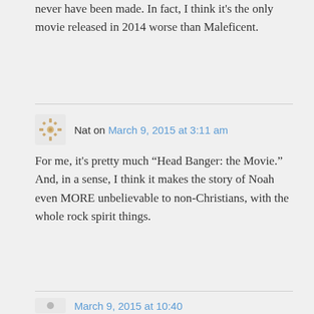never have been made. In fact, I think it's the only movie released in 2014 worse than Maleficent.
Nat on March 9, 2015 at 3:11 am
For me, it's pretty much “Head Banger: the Movie.” And, in a sense, I think it makes the story of Noah even MORE unbelievable to non-Christians, with the whole rock spirit things.